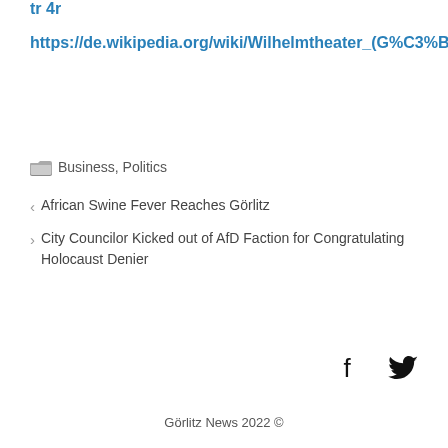tr 4r
https://de.wikipedia.org/wiki/Wilhelmtheater_(G%C3%B6rlitz)
Business, Politics
African Swine Fever Reaches Görlitz
City Councilor Kicked out of AfD Faction for Congratulating Holocaust Denier
Görlitz News 2022 ©